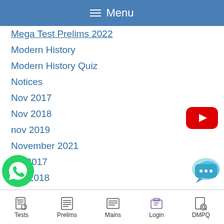☰ Menu
Mega Test Prelims 2022
Modern History
Modern History Quiz
Notices
Nov 2017
Nov 2018
nov 2019
November 2021
oct 2017
Oct 2018
ct 2019
ct 2020
[Figure (logo): YouTube play button icon (red rounded rectangle with white triangle)]
[Figure (logo): WhatsApp green phone icon]
[Figure (logo): Chat bubble icon (blue/teal with ellipsis)]
Tests  Prelims  Mains  Login  DMPQ